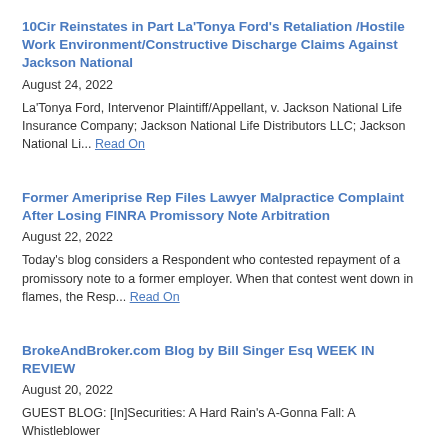10Cir Reinstates in Part La'Tonya Ford's Retaliation /Hostile Work Environment/Constructive Discharge Claims Against Jackson National
August 24, 2022
La'Tonya Ford, Intervenor Plaintiff/Appellant, v. Jackson National Life Insurance Company; Jackson National Life Distributors LLC; Jackson National Li... Read On
Former Ameriprise Rep Files Lawyer Malpractice Complaint After Losing FINRA Promissory Note Arbitration
August 22, 2022
Today's blog considers a Respondent who contested repayment of a promissory note to a former employer. When that contest went down in flames, the Resp... Read On
BrokeAndBroker.com Blog by Bill Singer Esq WEEK IN REVIEW
August 20, 2022
GUEST BLOG: [In]Securities: A Hard Rain's A-Gonna Fall: A Whistleblower